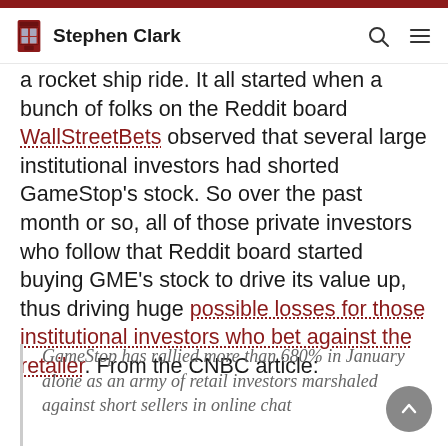Stephen Clark
a rocket ship ride. It all started when a bunch of folks on the Reddit board WallStreetBets observed that several large institutional investors had shorted GameStop's stock. So over the past month or so, all of those private investors who follow that Reddit board started buying GME's stock to drive its value up, thus driving huge possible losses for those institutional investors who bet against the retailer. From the CNBC article:
GameStop has rallied more than 680% in January alone as an army of retail investors marshaled against short sellers in online chat